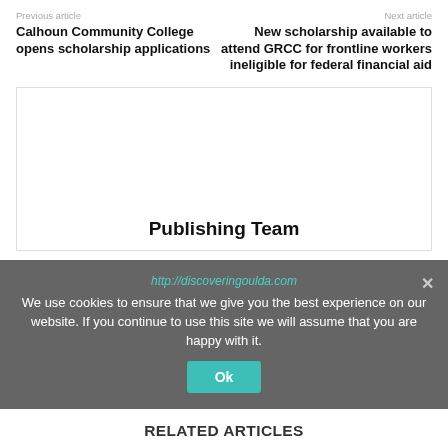Previous article
Next article
Calhoun Community College opens scholarship applications
New scholarship available to attend GRCC for frontline workers ineligible for federal financial aid
[Figure (other): Empty white card/box with 'Publishing Team' title at bottom]
Publishing Team
http://discoveringoulda.com
We use cookies to ensure that we give you the best experience on our website. If you continue to use this site we will assume that you are happy with it.
RELATED ARTICLES